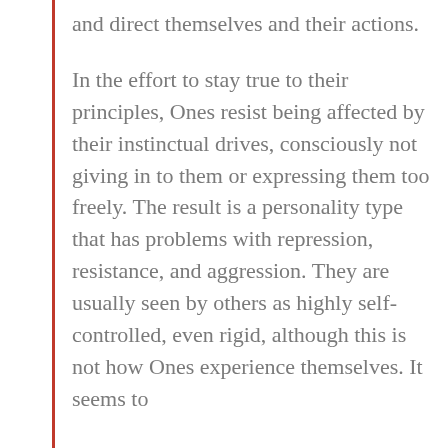and direct themselves and their actions.
In the effort to stay true to their principles, Ones resist being affected by their instinctual drives, consciously not giving in to them or expressing them too freely. The result is a personality type that has problems with repression, resistance, and aggression. They are usually seen by others as highly self- controlled, even rigid, although this is not how Ones experience themselves. It seems to them that the opposition would